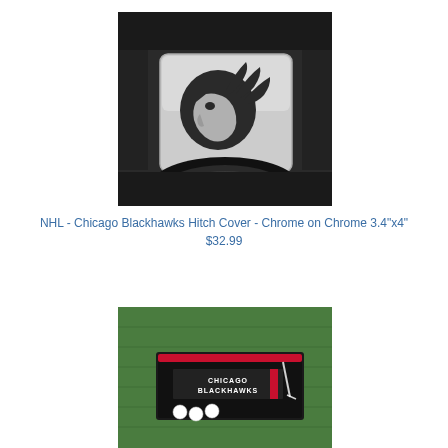[Figure (photo): Chicago Blackhawks chrome hitch cover mounted on the back of a vehicle, showing the Blackhawks Native American head logo in black on a chrome/silver square hitch cover, with car bumper and tire visible]
NHL - Chicago Blackhawks Hitch Cover - Chrome on Chrome 3.4"x4"
$32.99
[Figure (photo): Chicago Blackhawks golf hitting mat shown on green grass, with golf balls on the mat. The mat has Chicago Blackhawks branding in red and black.]